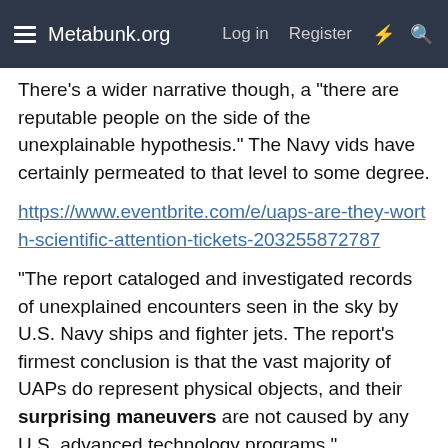Metabunk.org   Log in   Register
There's a wider narrative though, a "there are reputable people on the side of the unexplainable hypothesis." The Navy vids have certainly permeated to that level to some degree.
https://www.eventbrite.com/e/uaps-are-they-worth-scientific-attention-tickets-203255872787
"The report cataloged and investigated records of unexplained encounters seen in the sky by U.S. Navy ships and fighter jets. The report's firmest conclusion is that the vast majority of UAPs do represent physical objects, and their surprising maneuvers are not caused by any U.S. advanced technology programs."
https://tix.cathedral.org/TheatreManager/1/online?performance=25007
"The Director of National Intelligence has released a report assessing Unidentified Aerial Phenomena? As we look toward the heavens, what does the possibility of life "out there"